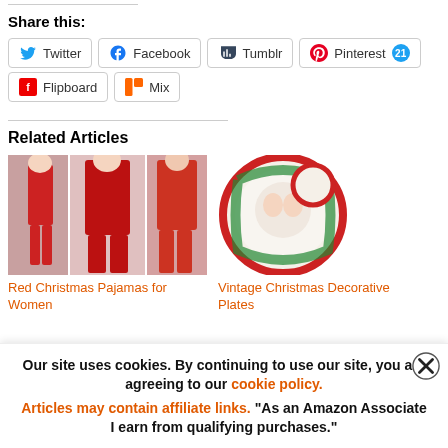Share this:
[Figure (infographic): Social share buttons: Twitter, Facebook, Tumblr, Pinterest (21), Flipboard, Mix]
Related Articles
[Figure (photo): Three women in red Christmas pajamas]
Red Christmas Pajamas for Women
[Figure (photo): Vintage Christmas decorative plates with Santa and holly wreath]
Vintage Christmas Decorative Plates
Our site uses cookies. By continuing to use our site, you are agreeing to our cookie policy. Articles may contain affiliate links. "As an Amazon Associate I earn from qualifying purchases."